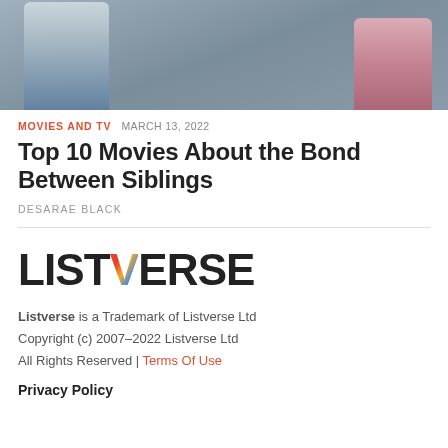[Figure (photo): Photo of two children (siblings), one in a striped shirt and jeans, another in a pink top, against a dark gray background]
MOVIES AND TV   MARCH 13, 2022
Top 10 Movies About the Bond Between Siblings
DESARAE BLACK
[Figure (logo): Listverse logo with colorful V]
Listverse is a Trademark of Listverse Ltd
Copyright (c) 2007–2022 Listverse Ltd
All Rights Reserved | Terms Of Use
Privacy Policy